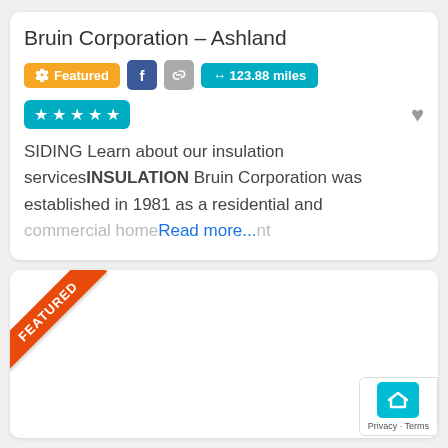Bruin Corporation – Ashland
Featured · Facebook · Link · ↔ 123.88 miles · 5 stars
SIDING Learn about our insulation servicesINSULATION Bruin Corporation was established in 1981 as a residential and commercial home Read more...nt
[Figure (infographic): Second listing card with orange FEATURED diagonal ribbon banner in the top-left corner, and a privacy/terms widget in the bottom-right corner.]